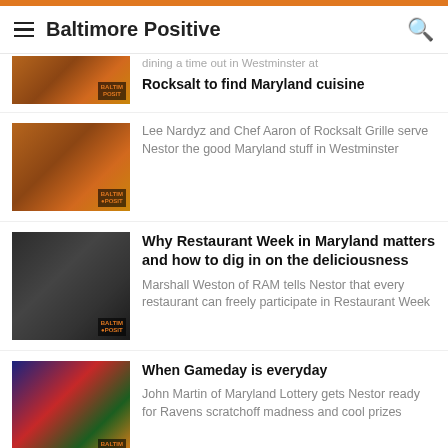Baltimore Positive
[Figure (photo): Partial thumbnail of food/restaurant scene clipped at top]
dining a time out in Westminster at
Rocksalt to find Maryland cuisine
Lee Nardyz and Chef Aaron of Rocksalt Grille serve Nestor the good Maryland stuff in Westminster
[Figure (photo): Two men in a dark restaurant setting wearing headphones]
Why Restaurant Week in Maryland matters and how to dig in on the deliciousness
Marshall Weston of RAM tells Nestor that every restaurant can freely participate in Restaurant Week
[Figure (photo): Maryland Lottery Ravens scratch-off tickets with colorful design]
When Gameday is everyday
John Martin of Maryland Lottery gets Nestor ready for Ravens scratchoff madness and cool prizes